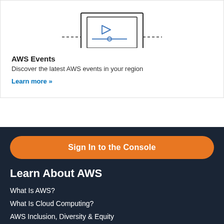[Figure (illustration): Line art illustration of a laptop screen showing a play button and a slider control, with dashed horizontal lines on both sides]
AWS Events
Discover the latest AWS events in your region
Learn more »
Sign In to the Console
Learn About AWS
What Is AWS?
What Is Cloud Computing?
AWS Inclusion, Diversity & Equity